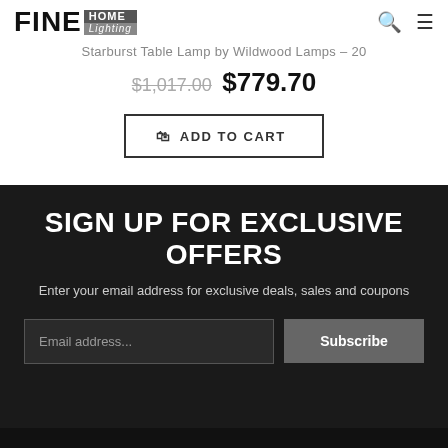Fine Home Lighting
Starburst Table Lamp by Wildwood Lamps - 20
$1,017.00  $779.70
ADD TO CART
SIGN UP FOR EXCLUSIVE OFFERS
Enter your email address for exclusive deals, sales and coupons
Email address...
Subscribe